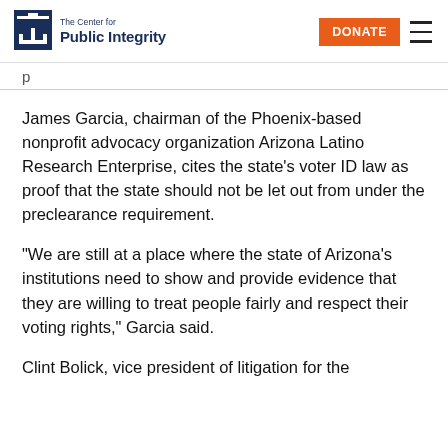The Center for Public Integrity | DONATE
p
James Garcia, chairman of the Phoenix-based nonprofit advocacy organization Arizona Latino Research Enterprise, cites the state's voter ID law as proof that the state should not be let out from under the preclearance requirement.
“We are still at a place where the state of Arizona’s institutions need to show and provide evidence that they are willing to treat people fairly and respect their voting rights,” Garcia said.
Clint Bolick, vice president of litigation for the